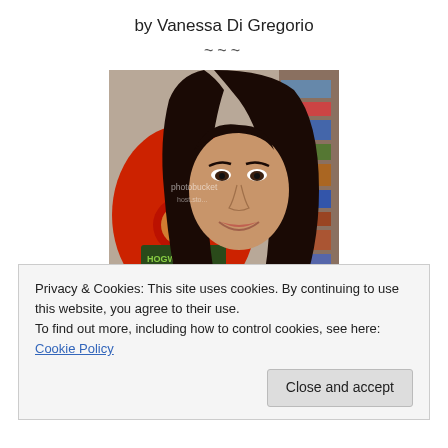by Vanessa Di Gregorio
~~~
[Figure (photo): Photo of a young woman with long dark hair smiling, with a Hogwarts Express decorative item and bookshelves visible in the background. A photobucket watermark is visible on the image.]
Privacy & Cookies: This site uses cookies. By continuing to use this website, you agree to their use.
To find out more, including how to control cookies, see here: Cookie Policy
Close and accept